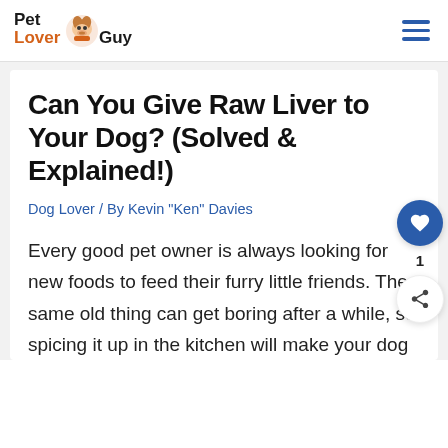Pet Lover Guy
Can You Give Raw Liver to Your Dog? (Solved & Explained!)
Dog Lover / By Kevin "Ken" Davies
Every good pet owner is always looking for new foods to feed their furry little friends. The same old thing can get boring after a while, so spicing it up in the kitchen will make your dog